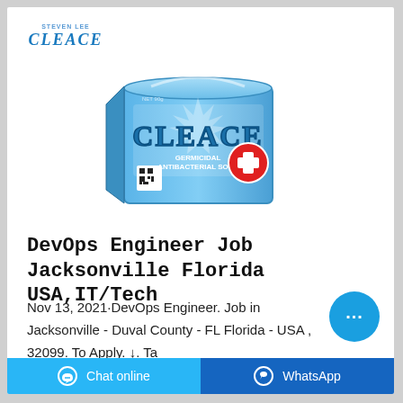[Figure (logo): Cleace brand logo with text 'CLEACE' in blue stylized font]
[Figure (photo): Box of Cleace Germicidal Antibacterial Soap, blue packaging with red cross symbol and QR code, NET 90g]
DevOps Engineer Job Jacksonville Florida USA,IT/Tech
Nov 13, 2021·DevOps Engineer. Job in Jacksonville - Duval County - FL Florida - USA , 32099. To Apply. ↓. Tap HERE. Company: Robert Half International. Full Time position. Listed on 2021-11-13. …
[Figure (illustration): Blue circular chat bubble icon with three dots]
Chat online | WhatsApp